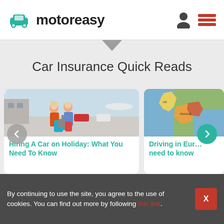[Figure (logo): Motoreasy logo with green car icon and bold text]
Car Insurance Quick Reads
[Figure (photo): Two women with luggage at an airport/car hire location]
Hiring A Car on Holiday: What You Need To Know
[Figure (photo): Map of Europe showing UK, France and surrounding countries]
Driving in Europe: what you need to know
By continuing to use the site, you agree to the use of cookies. You can find out more by following this link.